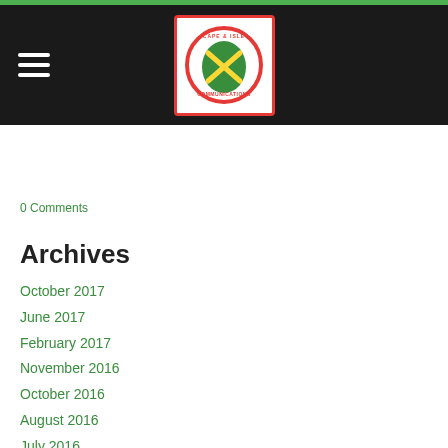Navigation bar with hamburger menu and organization logo
0 Comments
Archives
October 2017
June 2017
February 2017
November 2016
October 2016
August 2016
July 2016